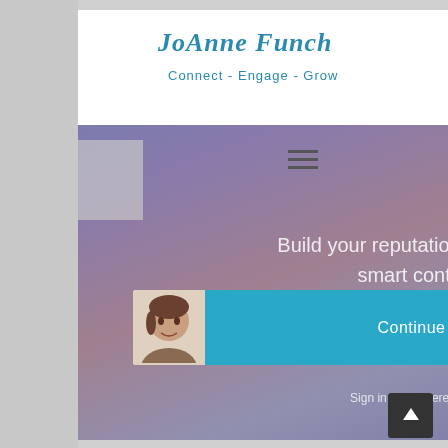[Figure (screenshot): Screenshot of a LinkedIn-related website by JoAne Funch titled 'Connect - Engage - Grow' with a LinkedIn For Business badge, a hero section reading 'Build your reputation by sharing smart content', and a 'Continue as JoAnne' button with a user avatar, plus a 'Sign in as a different user' link.]